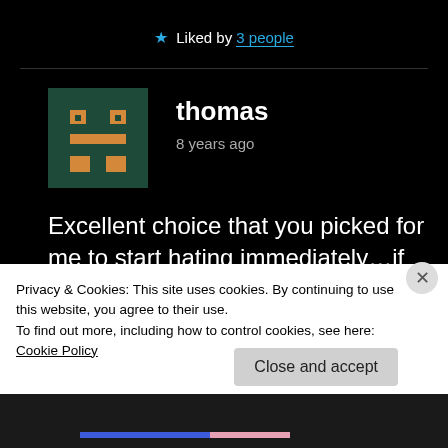★ Liked by 3 people
[Figure (illustration): Pixel art avatar of user 'thomas' — dark green background with orange geometric robot/face design]
thomas
8 years ago
Excellent choice that you picked for me to start hating immediately…if not any sooner. I hate more and more that I know how to read and that
Privacy & Cookies: This site uses cookies. By continuing to use this website, you agree to their use.
To find out more, including how to control cookies, see here: Cookie Policy
Close and accept